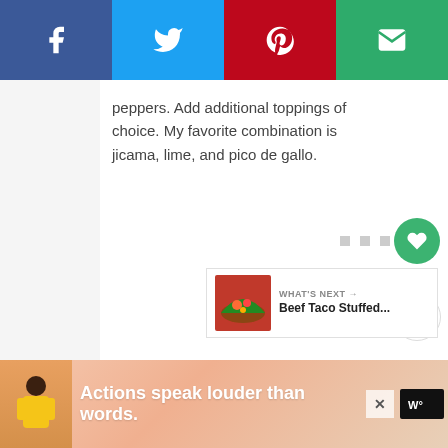[Figure (other): Social share bar with Facebook (blue), Twitter (cyan), Pinterest (red), Email (green) buttons]
peppers. Add additional toppings of choice. My favorite combination is jicama, lime, and pico de gallo.
[Figure (other): Green circular heart/like button with count 26, and share button below]
[Figure (other): Three small gray square dots (pagination/carousel indicator)]
[Figure (other): What's Next card with taco image, label 'WHAT'S NEXT →' and title 'Beef Taco Stuffed...']
[Figure (other): Advertisement banner: person figure, text 'Actions speak louder than words.' with close button and logo]